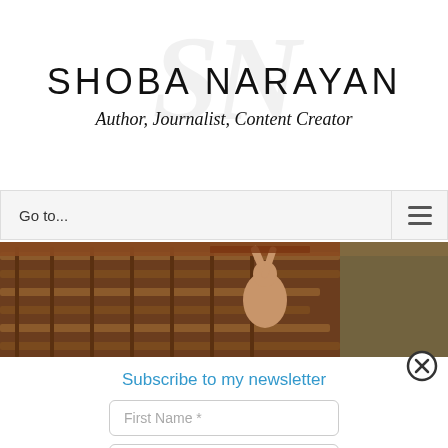SHOBA NARAYAN
Author, Journalist, Content Creator
Go to...
[Figure (photo): A person reaching up in an industrial or workshop setting with wooden shelving structures and rusty beams]
[Figure (other): Close button (circled X icon)]
Subscribe to my newsletter
First Name *
Email *